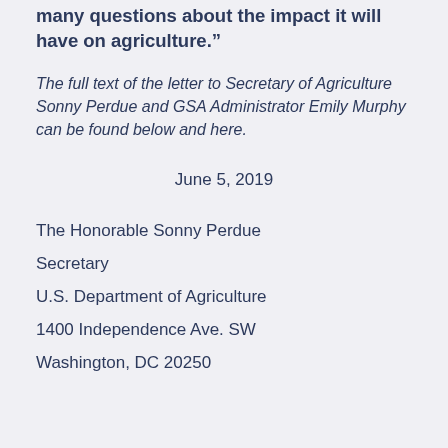this relocation and reorganization raises many questions about the impact it will have on agriculture.”
The full text of the letter to Secretary of Agriculture Sonny Perdue and GSA Administrator Emily Murphy can be found below and here.
June 5, 2019
The Honorable Sonny Perdue
Secretary
U.S. Department of Agriculture
1400 Independence Ave. SW
Washington, DC 20250